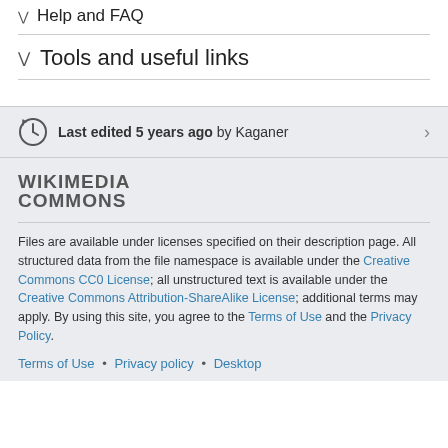Help and FAQ
Tools and useful links
Last edited 5 years ago by Kaganer
[Figure (logo): Wikimedia Commons logo text]
Files are available under licenses specified on their description page. All structured data from the file namespace is available under the Creative Commons CC0 License; all unstructured text is available under the Creative Commons Attribution-ShareAlike License; additional terms may apply. By using this site, you agree to the Terms of Use and the Privacy Policy.
Terms of Use • Privacy policy • Desktop